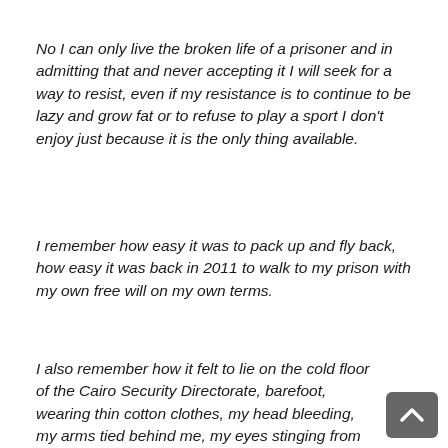No I can only live the broken life of a prisoner and in admitting that and never accepting it I will seek for a way to resist, even if my resistance is to continue to be lazy and grow fat or to refuse to play a sport I don't enjoy just because it is the only thing available.
I remember how easy it was to pack up and fly back, how easy it was back in 2011 to walk to my prison with my own free will on my own terms.
I also remember how it felt to lie on the cold floor of the Cairo Security Directorate, barefoot, wearing thin cotton clothes, my head bleeding, my arms tied behind me, my eyes stinging from the dirty tag they blindfolded me